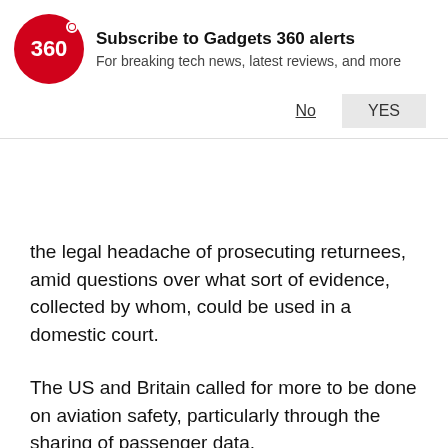[Figure (logo): Gadgets 360 red circular logo with '360' text]
Subscribe to Gadgets 360 alerts
For breaking tech news, latest reviews, and more
No    YES
the legal headache of prosecuting returnees, amid questions over what sort of evidence, collected by whom, could be used in a domestic court.
The US and Britain called for more to be done on aviation safety, particularly through the sharing of passenger data.
'Malware of terror'
The Group of Seven --- Britain, Canada, France, Germany, Italy, Japan and the US -- said it had also called on the Web giants to work with their smaller partners to bolster the anti-extremism shield.